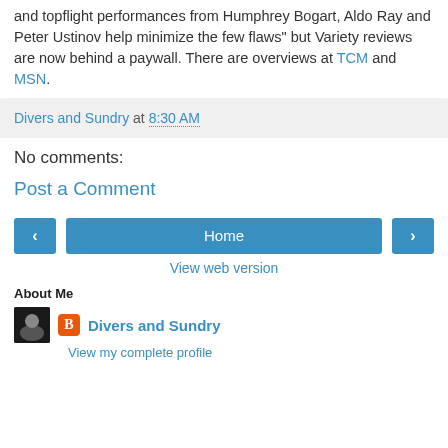and topflight performances from Humphrey Bogart, Aldo Ray and Peter Ustinov help minimize the few flaws" but Variety reviews are now behind a paywall. There are overviews at TCM and MSN.
Divers and Sundry at 8:30 AM
No comments:
Post a Comment
[Figure (screenshot): Navigation bar with left arrow button, Home button, and right arrow button]
View web version
About Me
Divers and Sundry
View my complete profile